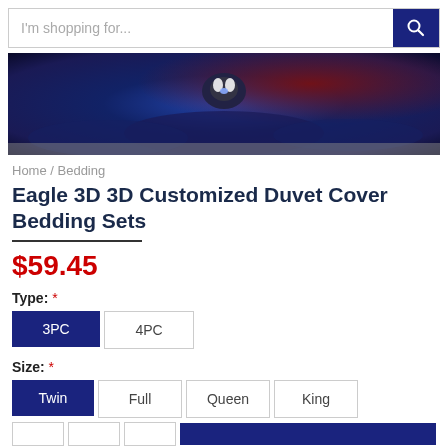[Figure (screenshot): Search bar with placeholder text 'I'm shopping for...' and blue search button with magnifying glass icon]
[Figure (photo): Product image showing an eagle design bedding set with blue and dark purple tones, eagle face visible in center]
Home / Bedding
Eagle 3D 3D Customized Duvet Cover Bedding Sets
$59.45
Type: *
3PC  4PC
Size: *
Twin  Full  Queen  King